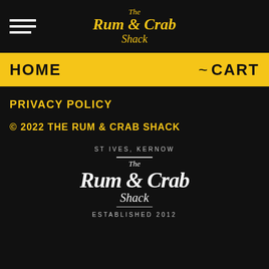The Rum & Crab Shack
HOME ~ CART
PRIVACY POLICY
© 2022 THE RUM & CRAB SHACK
[Figure (logo): The Rum & Crab Shack logo badge with 'ST IVES, KERNOW' text above, script logotype, and 'ESTABLISHED 2012' text below]